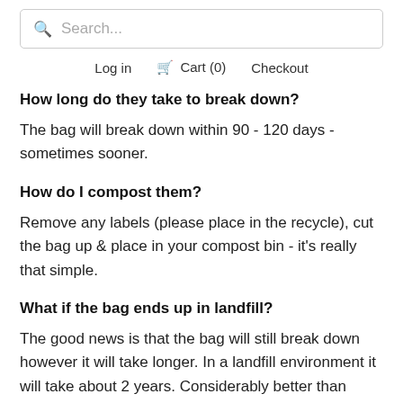Search...
Log in  Cart (0)  Checkout
How long do they take to break down?
The bag will break down within 90 - 120 days - sometimes sooner.
How do I compost them?
Remove any labels (please place in the recycle), cut the bag up & place in your compost bin - it's really that simple.
What if the bag ends up in landfill?
The good news is that the bag will still break down however it will take longer. In a landfill environment it will take about 2 years. Considerably better than about 400 years that a standard plastic mailer would take. Obviously we would very